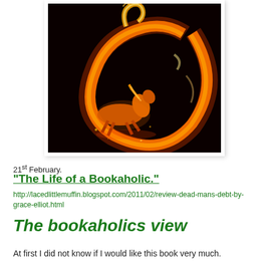[Figure (photo): A dramatic digital art image of a fiery horse running inside a large glowing orange fire ring against a black background]
21st February.
"The Life of a Bookaholic."
http://lacedlittlemuffin.blogspot.com/2011/02/review-dead-mans-debt-by-grace-elliot.html
The bookaholics view
At first I did not know if I would like this book very much.